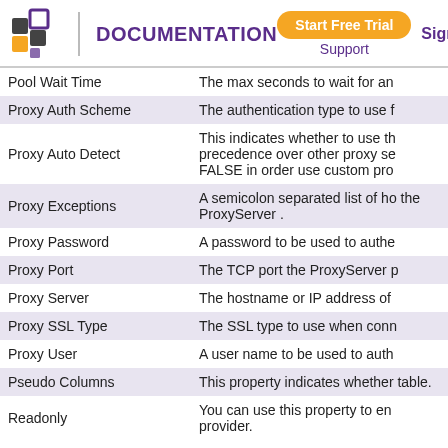DOCUMENTATION | Start Free Trial | Support | Sign in
| Property | Description |
| --- | --- |
| Pool Wait Time | The max seconds to wait for an |
| Proxy Auth Scheme | The authentication type to use f |
| Proxy Auto Detect | This indicates whether to use th precedence over other proxy se FALSE in order use custom pro |
| Proxy Exceptions | A semicolon separated list of ho the ProxyServer . |
| Proxy Password | A password to be used to authe |
| Proxy Port | The TCP port the ProxyServer p |
| Proxy Server | The hostname or IP address of |
| Proxy SSL Type | The SSL type to use when conn |
| Proxy User | A user name to be used to auth |
| Pseudo Columns | This property indicates whether table. |
| Readonly | You can use this property to en provider. |